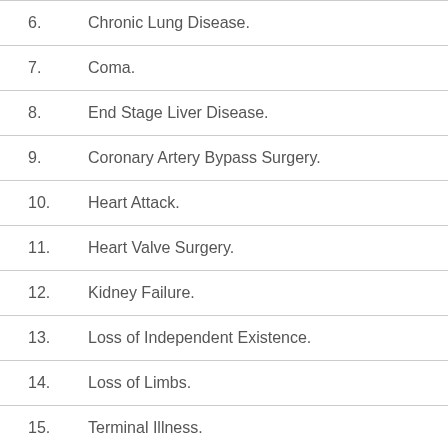6. Chronic Lung Disease.
7. Coma.
8. End Stage Liver Disease.
9. Coronary Artery Bypass Surgery.
10. Heart Attack.
11. Heart Valve Surgery.
12. Kidney Failure.
13. Loss of Independent Existence.
14. Loss of Limbs.
15. Terminal Illness.
16. Major Burns.